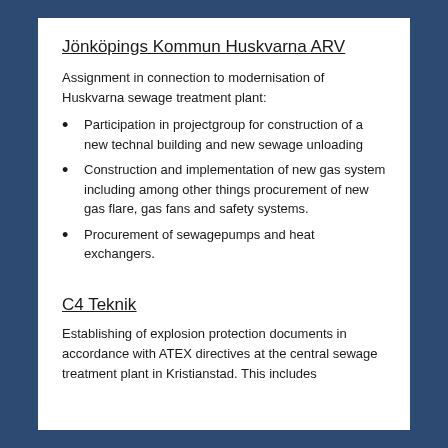Jönköpings Kommun Huskvarna ARV
Assignment in connection to modernisation of Huskvarna sewage treatment plant:
Participation in projectgroup for construction of a new technal building and new sewage unloading
Construction and implementation of new gas system including among other things procurement of new gas flare, gas fans and safety systems.
Procurement of sewagepumps and heat exchangers.
C4 Teknik
Establishing of explosion protection documents in accordance with ATEX directives at the central sewage treatment plant in Kristianstad. This includes